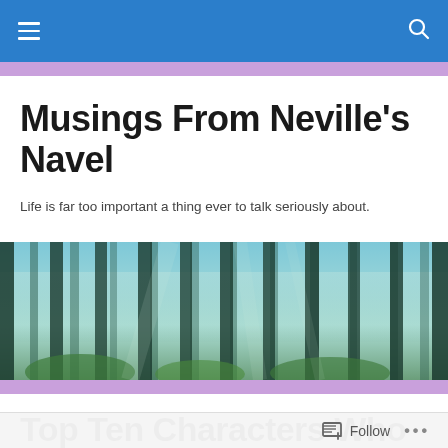Navigation bar with hamburger menu and search icon
Musings From Neville's Navel
Life is far too important a thing ever to talk seriously about.
[Figure (photo): A misty forest scene with tall pine trees and soft blue-green light filtering through the trees.]
Top Ten Characters Who Would Be At My Lunch Table
Follow